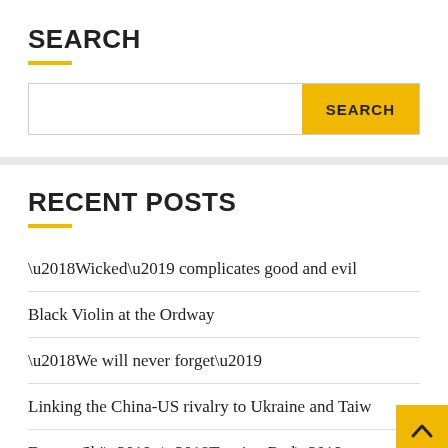SEARCH
SEARCH (button)
RECENT POSTS
‘Wicked’ complicates good and evil
Black Violin at the Ordway
‘We will never forget’
Linking the China-US rivalry to Ukraine and Taiw…
Domee Shi’s ‘Turning Red’ opens a new page for Pixar